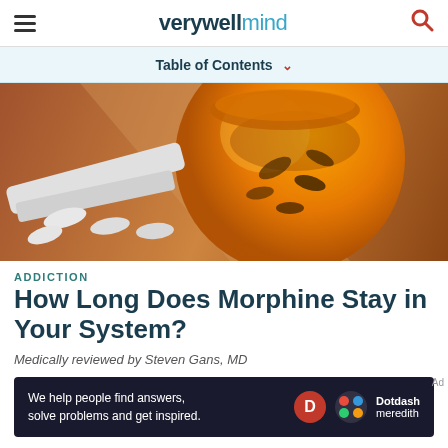verywell mind
Table of Contents
[Figure (photo): Close-up photo of an orange prescription pill bottle tipped on its side with pills spilling out onto a wooden surface]
ADDICTION
How Long Does Morphine Stay in Your System?
Medically reviewed by Steven Gans, MD
[Figure (infographic): Dotdash Meredith advertisement banner: 'We help people find answers, solve problems and get inspired.' with D logo and Dotdash meredith branding]